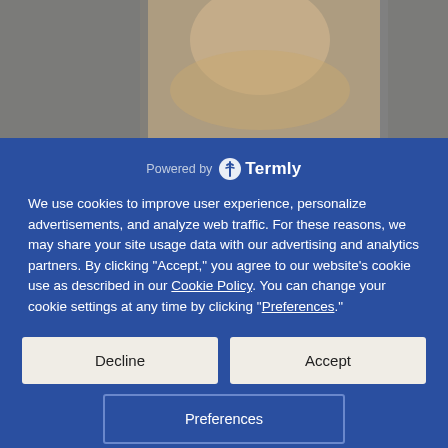[Figure (photo): Background photo of a person's face (blonde woman smiling), partially visible at top and bottom, dimmed behind a cookie consent modal overlay.]
Powered by Termly
We use cookies to improve user experience, personalize advertisements, and analyze web traffic. For these reasons, we may share your site usage data with our advertising and analytics partners. By clicking “Accept,” you agree to our website’s cookie use as described in our Cookie Policy. You can change your cookie settings at any time by clicking “Preferences.”
Decline
Accept
Preferences